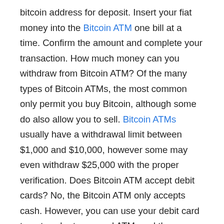bitcoin address for deposit. Insert your fiat money into the Bitcoin ATM one bill at a time. Confirm the amount and complete your transaction. How much money can you withdraw from Bitcoin ATM? Of the many types of Bitcoin ATMs, the most common only permit you buy Bitcoin, although some do also allow you to sell. Bitcoin ATMs usually have a withdrawal limit between $1,000 and $10,000, however some may even withdraw $25,000 with the proper verification. Does Bitcoin ATM accept debit cards? No, the Bitcoin ATM only accepts cash. However, you can use your debit card to get cash at a normal ATM, and then use the cash to buy bitcoin at an ATM. Make sure to only bring cash to the Bitcoin ATM machine to make a purchase. Insert cash one bill at a time into the machine and click Buy. Are Bitcoin ATMs safe? Yes, Bitcoin ATMs are a secure way to purchase Bitcoin with cash instantly. Bitcoin is sent to the Bitcoin wallet you scan at the machine for the purchase. How do I find a Bitcoin ATM near me? To find a Bitcoin ATM near me, you can use the Bitcoin ATM Locations Map which shows Bitcoin machine locations. You can input your location to